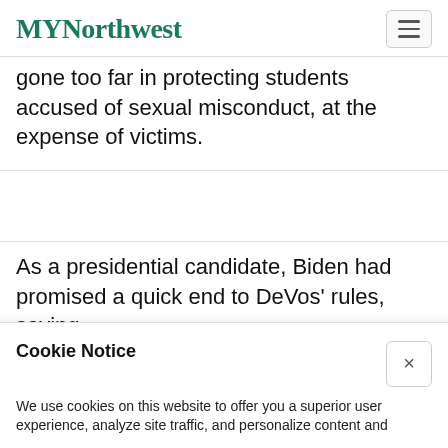MYNorthwest
gone too far in protecting students accused of sexual misconduct, at the expense of victims.
As a presidential candidate, Biden had promised a quick end to DeVos' rules, saying
Cookie Notice
We use cookies on this website to offer you a superior user experience, analyze site traffic, and personalize content and